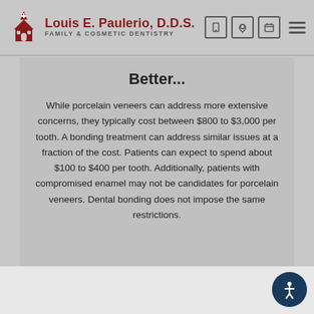Louis E. Paulerio, D.D.S. | FAMILY & COSMETIC DENTISTRY
Better...
While porcelain veneers can address more extensive concerns, they typically cost between $800 to $3,000 per tooth. A bonding treatment can address similar issues at a fraction of the cost. Patients can expect to spend about $100 to $400 per tooth. Additionally, patients with compromised enamel may not be candidates for porcelain veneers. Dental bonding does not impose the same restrictions.